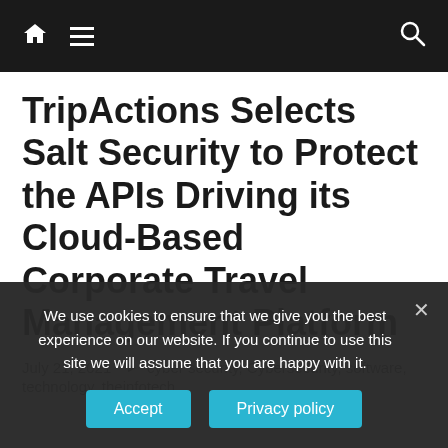Navigation bar with home icon, hamburger menu, and search icon
TripActions Selects Salt Security to Protect the APIs Driving its Cloud-Based Corporate Travel Management Platform
July 21, 2021  cyber security, Cybersecurity, software, technology, theinfotech
We use cookies to ensure that we give you the best experience on our website. If you continue to use this site we will assume that you are happy with it.